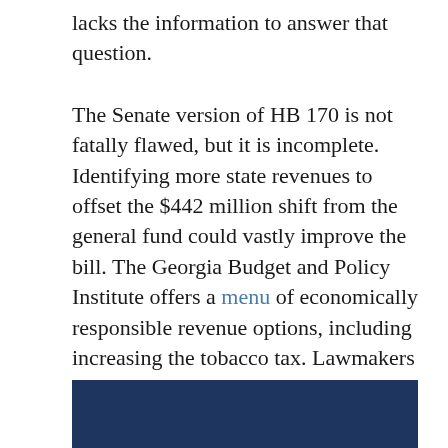lacks the information to answer that question.
The Senate version of HB 170 is not fatally flawed, but it is incomplete.  Identifying more state revenues to offset the $442 million shift from the general fund could vastly improve the bill. The Georgia Budget and Policy Institute offers a menu of economically responsible revenue options, including increasing the tobacco tax. Lawmakers can select one or more of these to cover the shortfall. That makes more sense than stepping backward toward the painful days of the recession.
[Figure (other): Dark navy blue horizontal bar/banner at the bottom of the page]